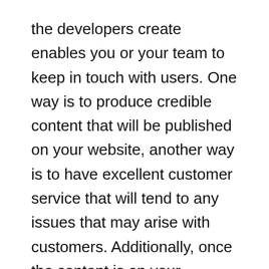the developers create enables you or your team to keep in touch with users. One way is to produce credible content that will be published on your website, another way is to have excellent customer service that will tend to any issues that may arise with customers. Additionally, once the content is on your website, you can also share it on the different social media networks and continue the communication there as well. Respond to comments and read the customers'' feedback as often as you can.
And lastly, a fully functional and properly managed website will prove your reliability. Your online presence and the way you represent your business